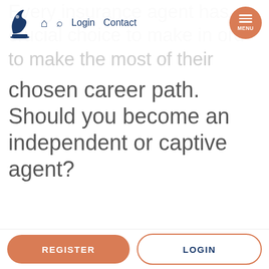Logo | Home | Search | Login | Contact | MENU
Every insurance agent has a crucial choice to make in order to make the most of their
chosen career path. Should you become an independent or captive agent?
While everyone is different and has unique preferences, we think being an independent agent has the ultimate perks. Let us tell you why.
Listen to this article
REGISTER | LOGIN